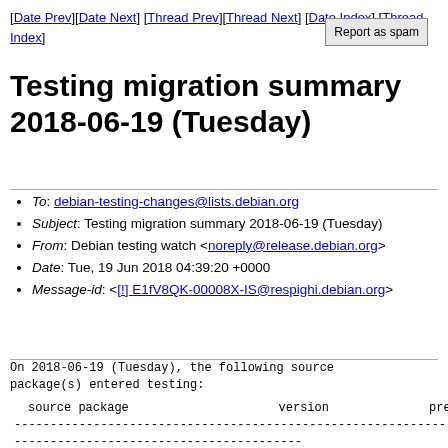[Date Prev][Date Next] [Thread Prev][Thread Next] [Date Index] [Thread Index]
Testing migration summary 2018-06-19 (Tuesday)
To: debian-testing-changes@lists.debian.org
Subject: Testing migration summary 2018-06-19 (Tuesday)
From: Debian testing watch <noreply@release.debian.org>
Date: Tue, 19 Jun 2018 04:39:20 +0000
Message-id: <[!] E1fV8QK-00008X-IS@respighi.debian.org>
On 2018-06-19 (Tuesday), the following source package(s) entered testing:
| source package | version | previous |
| --- | --- | --- |
| adlint | 3.2.14-3 |  |